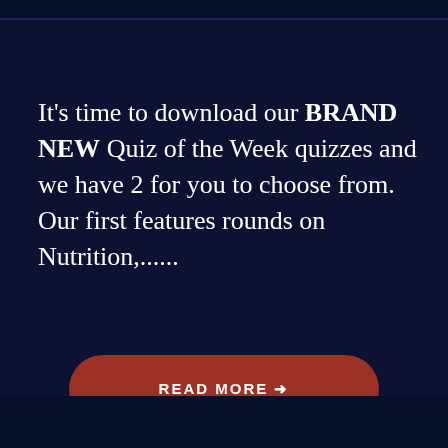It's time to download our BRAND NEW Quiz of the Week quizzes and we have 2 for you to choose from. Our first features rounds on Nutrition,......
READ MORE →